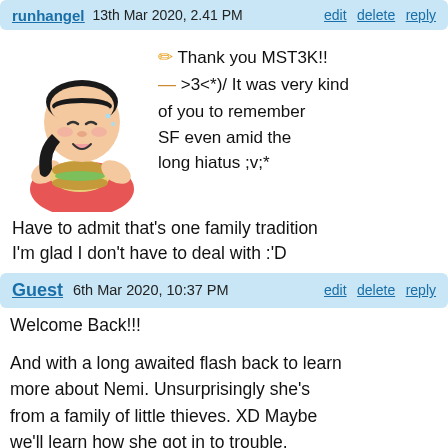runhangel   13th Mar 2020, 2.41 PM   edit  delete  reply
[Figure (illustration): Cartoon character eating a sandwich, with speech bubbles containing pencil and dash emojis]
Thank you MST3K!! >3<*)/ It was very kind of you to remember SF even amid the long hiatus ;v;*
Have to admit that's one family tradition I'm glad I don't have to deal with :'D
Guest   6th Mar 2020, 10:37 PM   edit  delete  reply
Welcome Back!!!
And with a long awaited flash back to learn more about Nemi. Unsurprisingly she's from a family of little thieves. XD Maybe we'll learn how she got in to trouble.
But again welcome back. ^_^